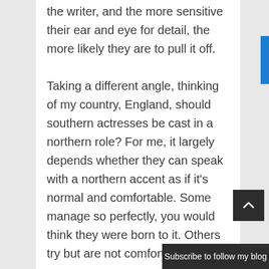the writer, and the more sensitive their ear and eye for detail, the more likely they are to pull it off.

Taking a different angle, thinking of my country, England, should southern actresses be cast in a northern role? For me, it largely depends whether they can speak with a northern accent as if it's normal and comfortable. Some manage so perfectly, you would think they were born to it. Others try but are not comfortable